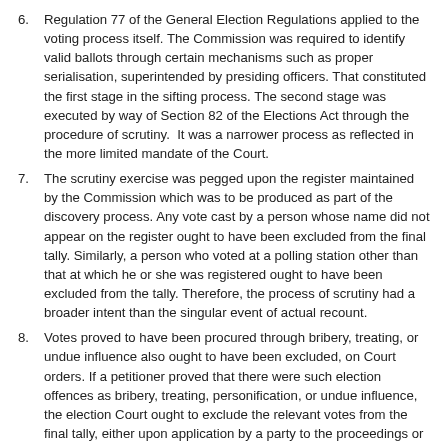6. Regulation 77 of the General Election Regulations applied to the voting process itself. The Commission was required to identify valid ballots through certain mechanisms such as proper serialisation, superintended by presiding officers. That constituted the first stage in the sifting process. The second stage was executed by way of Section 82 of the Elections Act through the procedure of scrutiny.  It was a narrower process as reflected in the more limited mandate of the Court.
7. The scrutiny exercise was pegged upon the register maintained by the Commission which was to be produced as part of the discovery process. Any vote cast by a person whose name did not appear on the register ought to have been excluded from the final tally. Similarly, a person who voted at a polling station other than that at which he or she was registered ought to have been excluded from the tally. Therefore, the process of scrutiny had a broader intent than the singular event of actual recount.
8. Votes proved to have been procured through bribery, treating, or undue influence also ought to have been excluded, on Court orders. If a petitioner proved that there were such election offences as bribery, treating, personification, or undue influence, the election Court ought to exclude the relevant votes from the final tally, either upon application by a party to the proceedings or on its own motion.